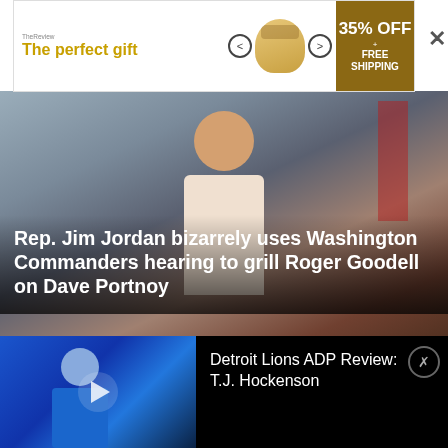[Figure (other): Advertisement banner for a gift product showing 'The perfect gift' text, bowl imagery, navigation arrows, and '35% OFF + FREE SHIPPING' badge]
[Figure (photo): News article image showing a man in a hearing room with an American flag in background]
Rep. Jim Jordan bizarrely uses Washington Commanders hearing to grill Roger Goodell on Dave Portnoy
[Figure (photo): News article image showing fireworks at a minor-league baseball game at night]
Minor-league Trash Pandas' fireworks display gone wrong injured a team
[Figure (photo): Video thumbnail showing a Detroit Lions player in blue uniform holding a football]
Detroit Lions ADP Review: T.J. Hockenson